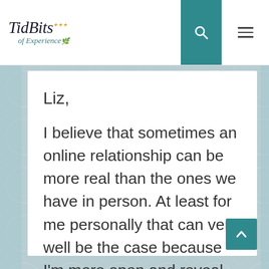TidBits of Experience
Liz,
I believe that sometimes an online relationship can be more real than the ones we have in person. At least for me personally that can very well be the case because I'm more open and reveal more of myself online than I do in person.